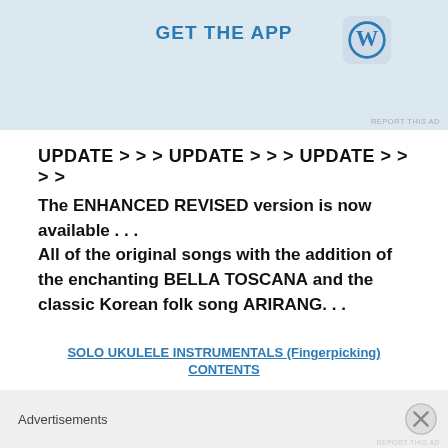[Figure (screenshot): App advertisement banner with 'GET THE APP' text in blue and WordPress logo icon on right side, on light blue background. 'REPORT THIS AD' text in bottom right.]
UPDATE > > > UPDATE > > > UPDATE > > > >
The ENHANCED REVISED version is now available . . . All of the original songs with the addition of the enchanting BELLA TOSCANA and the classic Korean folk song ARIRANG. . .
SOLO UKULELE INSTRUMENTALS (Fingerpicking) CONTENTS
Amazing Grace
Aura Lea
Blackbird
Advertisements